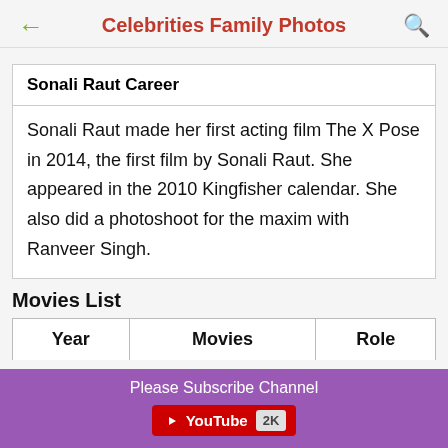Celebrities Family Photos
Sonali Raut Career
Sonali Raut made her first acting film The X Pose in 2014, the first film by Sonali Raut. She appeared in the 2010 Kingfisher calendar. She also did a photoshoot for the maxim with Ranveer Singh.
Movies List
| Year | Movies | Role |
| --- | --- | --- |
Please Subscribe Channel